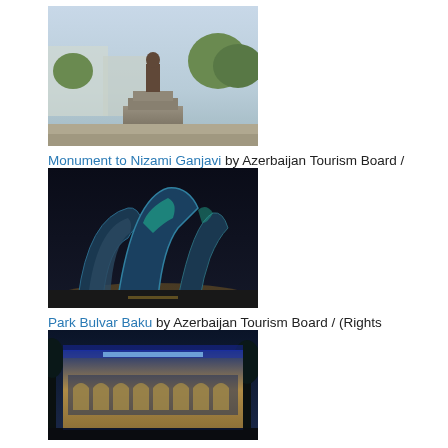[Figure (photo): Photograph of Monument to Nizami Ganjavi — a statue on a stepped stone pedestal in a public square with trees and buildings in background]
Monument to Nizami Ganjavi by Azerbaijan Tourism Board / (Rights Reserved)
[Figure (photo): Night photograph of Park Bulvar Baku — modern futuristic curved illuminated building structures at night]
Park Bulvar Baku by Azerbaijan Tourism Board / (Rights Reserved)
[Figure (photo): Night photograph of National Museum of Azerbaijan Literature — grand classical building with arched windows illuminated in blue and gold light]
National Museum of Azerbaijan Literature by Ludvig14 /